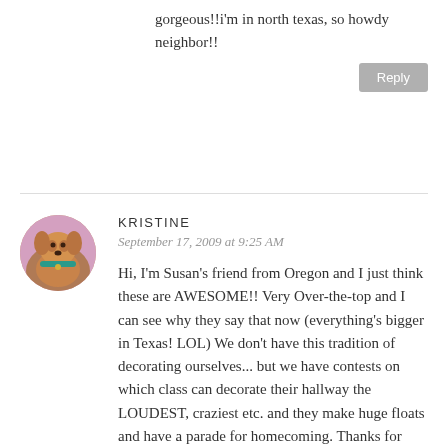gorgeous!!i'm in north texas, so howdy neighbor!!
Reply
[Figure (photo): Circular avatar photo of a dog (appears to be a golden/orange colored dog) with a teal collar, set against a colorful background]
KRISTINE
September 17, 2009 at 9:25 AM
Hi, I'm Susan's friend from Oregon and I just think these are AWESOME!! Very Over-the-top and I can see why they say that now (everything's bigger in Texas! LOL) We don't have this tradition of decorating ourselves... but we have contests on which class can decorate their hallway the LOUDEST, craziest etc. and they make huge floats and have a parade for homecoming. Thanks for sharing this!! I'm glad I got